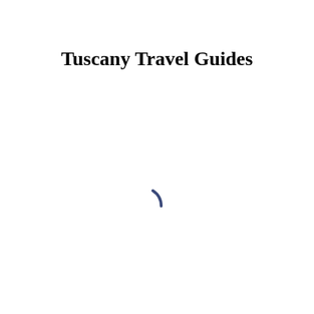Tuscany Travel Guides
[Figure (other): A loading spinner arc — a short curved stroke in dark slate-blue color, resembling a partial circle arc, centered in the lower-middle area of the page.]